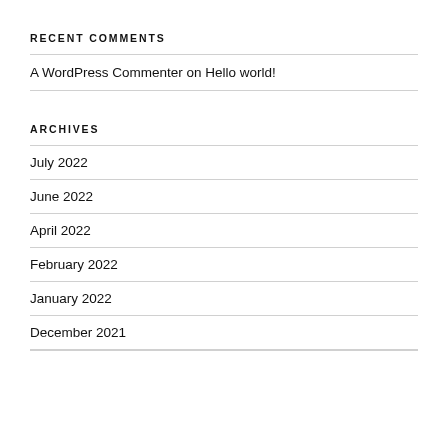RECENT COMMENTS
A WordPress Commenter on Hello world!
ARCHIVES
July 2022
June 2022
April 2022
February 2022
January 2022
December 2021